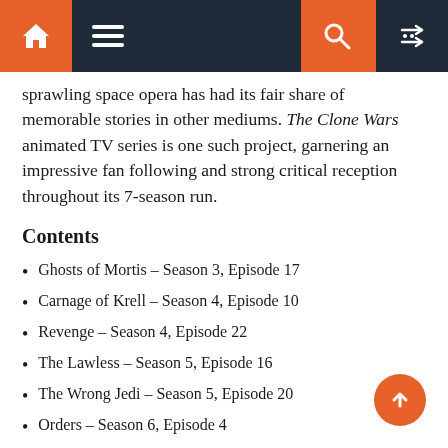Navigation bar with home, menu, search, and random icons
sprawling space opera has had its fair share of memorable stories in other mediums. The Clone Wars animated TV series is one such project, garnering an impressive fan following and strong critical reception throughout its 7-season run.
Contents
Ghosts of Mortis – Season 3, Episode 17
Carnage of Krell – Season 4, Episode 10
Revenge – Season 4, Episode 22
The Lawless – Season 5, Episode 16
The Wrong Jedi – Season 5, Episode 20
Orders – Season 6, Episode 4
Sacrifice – Season 6, Episode 13
The Phantom Apprentice – Season 7, Episode 10
Shattered – Season 7, Episode 11
Victory and Death – Season 7, Episode 12Show 5 more